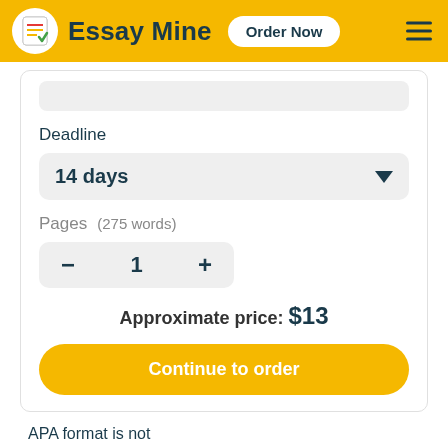Essay Mine  Order Now
Deadline
14 days
Pages   (275 words)
− 1 +
Approximate price: $13
Continue to order
APA format is not followed.
Errors in four areas